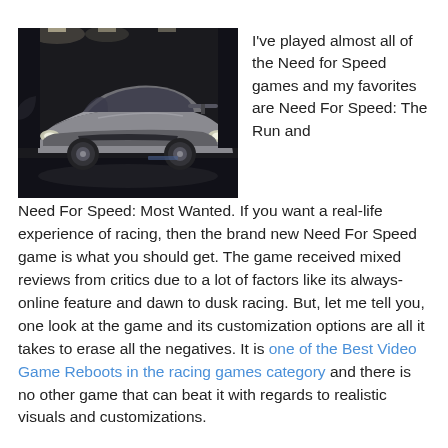[Figure (photo): A silver sports car (Porsche-style) photographed in a dark garage or showroom setting, from a low front-angle perspective. This appears to be from a Need for Speed video game.]
I've played almost all of the Need for Speed games and my favorites are Need For Speed: The Run and Need For Speed: Most Wanted. If you want a real-life experience of racing, then the brand new Need For Speed game is what you should get. The game received mixed reviews from critics due to a lot of factors like its always-online feature and dawn to dusk racing. But, let me tell you, one look at the game and its customization options are all it takes to erase all the negatives. It is one of the Best Video Game Reboots in the racing games category and there is no other game that can beat it with regards to realistic visuals and customizations.